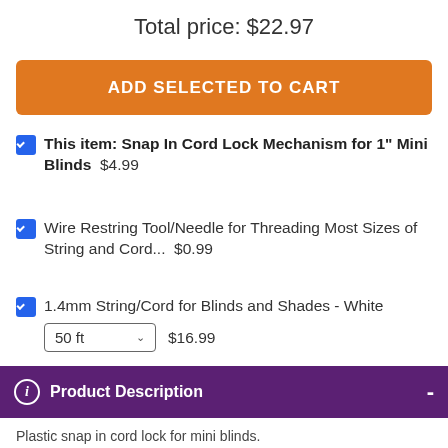Total price: $22.97
ADD SELECTED TO CART
This item: Snap In Cord Lock Mechanism for 1" Mini Blinds  $4.99
Wire Restring Tool/Needle for Threading Most Sizes of String and Cord...  $0.99
1.4mm String/Cord for Blinds and Shades - White  50 ft  $16.99
Product Description
Plastic snap in cord lock for mini blinds.